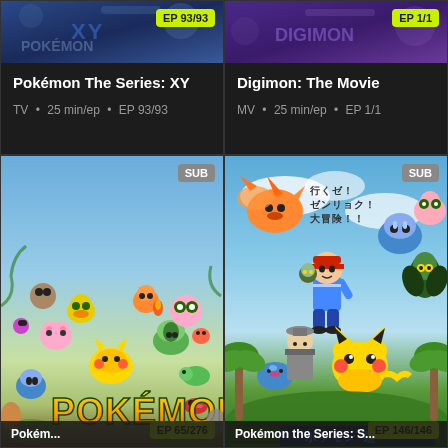[Figure (screenshot): Streaming app grid showing 4 anime thumbnails. Top-left: Pokémon The Series: XY (EP 93/93 badge, TV, 25 min/ep). Top-right: Digimon: The Movie (EP 1/1 badge, MV, 25 min/ep). Bottom-left: Pokémon classic series collage artwork with SUB badge, EP 65/276. Bottom-right: Pokémon The Series Sun anime movie artwork with SUB badge, EP 146/146.]
EP 93/93
Pokémon The Series: XY
TV • 25 min/ep • EP 93/93
EP 1/1
Digimon: The Movie
MV • 25 min/ep • EP 1/1
SUB
EP 65/276
Pokém...
SUB
EP 146/146
Pokémon the Series: S...